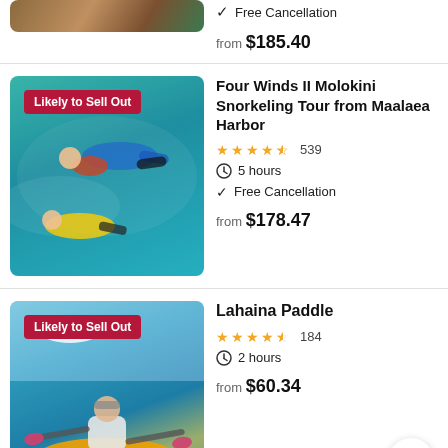[Figure (photo): Partial top image of a person, cropped, tropical setting]
✓ Free Cancellation
from $185.40
[Figure (photo): Aerial view of snorkelers in turquoise water, with Likely to Sell Out badge]
Four Winds II Molokini Snorkeling Tour from Maalaea Harbor
★★★★½ 539
⏱ 5 hours
✓ Free Cancellation
from $178.47
[Figure (photo): Person kayaking on ocean with yellow kayak and pink paddle, Likely to Sell Out badge]
Lahaina Paddle
★★★★½ 184
⏱ 2 hours
from $60.34